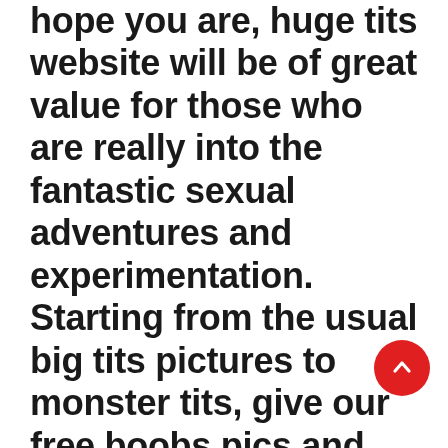hope you are, huge tits website will be of great value for those who are really into the fantastic sexual adventures and experimentation. Starting from the usual big tits pictures to monster tits, give our free boobs pics and movies ion. Huge tit pics have lots of hot dames with truly great bodies, here you will be able to